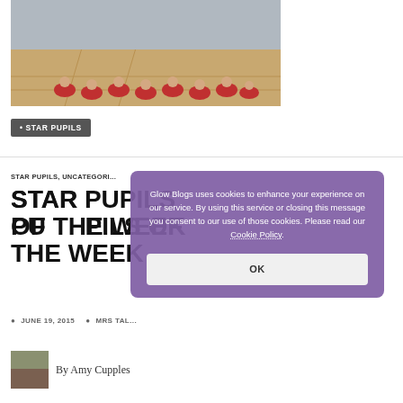[Figure (photo): School assembly or performance: children in red uniforms sitting on a gym floor watching other students perform on a stage area]
STAR PUPILS
STAR PUPILS, UNCATEGORIZED
STAR PUPILS OF THE WEEK
JUNE 19, 2015   MRS TAL...
[Figure (photo): Small thumbnail image]
By Amy Cupples
Glow Blogs uses cookies to enhance your experience on our service. By using this service or closing this message you consent to our use of those cookies. Please read our Cookie Policy.